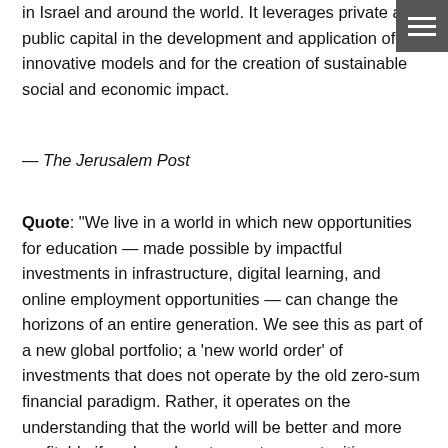in Israel and around the world. It leverages private and public capital in the development and application of innovative models and for the creation of sustainable social and economic impact.
— The Jerusalem Post
Quote: “We live in a world in which new opportunities for education — made possible by impactful investments in infrastructure, digital learning, and online employment opportunities — can change the horizons of an entire generation. We see this as part of a new global portfolio; a ‘new world order’ of investments that does not operate by the old zero-sum financial paradigm. Rather, it operates on the understanding that the world will be better and more profitable if we learn how to create opportunities through impactful investments from which multiple parties gain.”